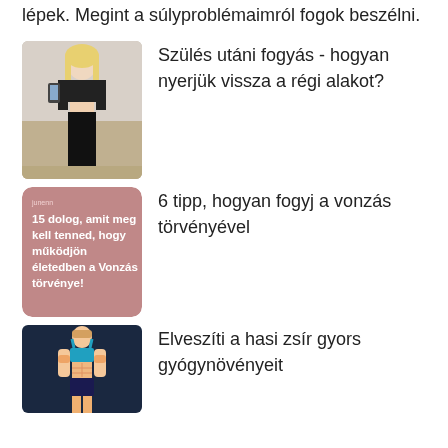lépek. Megint a súlyproblémaimról fogok beszélni.
Szülés utáni fogyás - hogyan nyerjük vissza a régi alakot?
[Figure (photo): A slim blonde woman in black crop top and leggings taking a mirror selfie, showing toned stomach.]
6 tipp, hogyan fogyj a vonzás törvényével
[Figure (infographic): Pink background card with text: '15 dolog, amit meg kell tenned, hogy működjön életedben a Vonzás törvénye!']
Elveszíti a hasi zsír gyors gyógynövényeit
[Figure (illustration): Illustrated fit woman in sports bra and shorts with visible abs on dark teal background.]